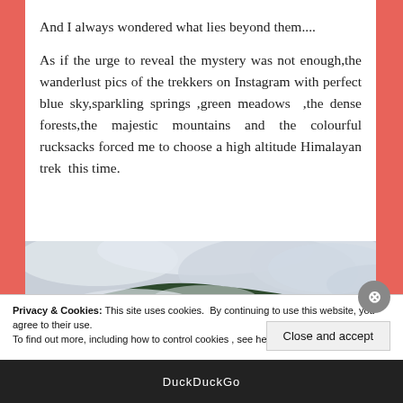And I always wondered what lies beyond them....
As if the urge to reveal the mystery was not enough,the wanderlust pics of the trekkers on Instagram with perfect blue sky,sparkling springs ,green meadows ,the dense forests,the majestic mountains and the colourful rucksacks forced me to choose a high altitude Himalayan trek this time.
[Figure (photo): A mountain landscape with green forested slopes partially covered by low clouds and mist.]
Privacy & Cookies: This site uses cookies. By continuing to use this website, you agree to their use.
To find out more, including how to control cookies, see here: Cookie Policy
Close and accept
DuckDuckGo